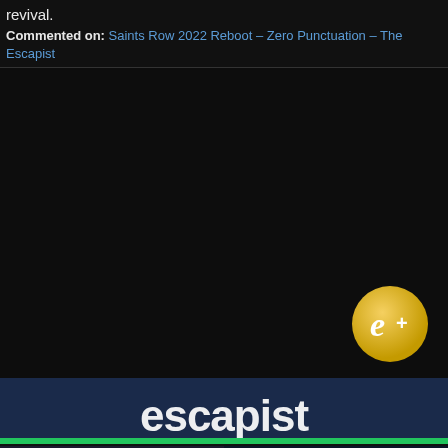revival.
Commented on: Saints Row 2022 Reboot – Zero Punctuation – The Escapist
[Figure (other): Dark black area with Escapist e+ badge in bottom right corner]
[Figure (other): Dark navy footer bar with large white 'escapist' text]
[Figure (other): Advertisement for House of the Dragon on HBO Max with green progress bar and close button]